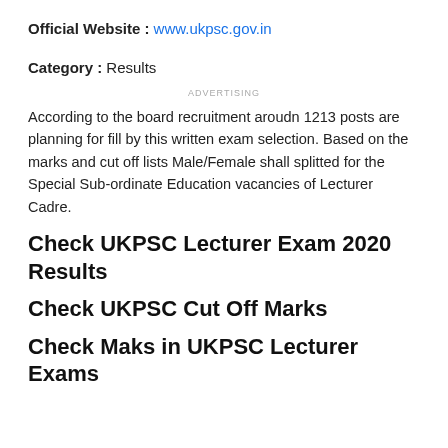Official Website : www.ukpsc.gov.in
Category : Results
ADVERTISING
According to the board recruitment aroudn 1213 posts are planning for fill by this written exam selection. Based on the marks and cut off lists Male/Female shall splitted for the Special Sub-ordinate Education vacancies of Lecturer Cadre.
Check UKPSC Lecturer Exam 2020 Results
Check UKPSC Cut Off Marks
Check Maks in UKPSC Lecturer Exams